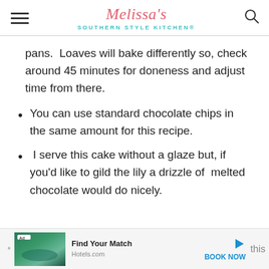Melissa's Southern Style Kitchen®
pans.  Loaves will bake differently so, check around 45 minutes for doneness and adjust time from there.
You can use standard chocolate chips in the same amount for this recipe.
I serve this cake without a glaze but, if you'd like to gild the lily a drizzle of  melted chocolate would do nicely.
[Figure (screenshot): Advertisement bar at bottom: Hotels.com ad with tropical resort image, 'Find Your Match' text, 'BOOK NOW' link]